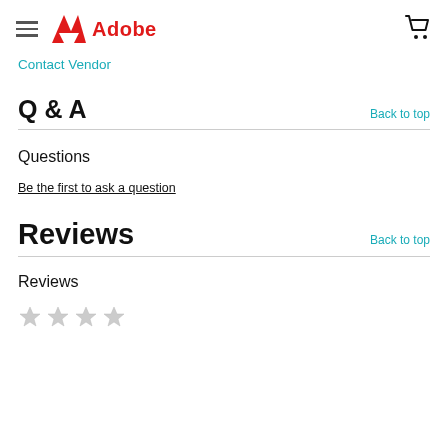Adobe — Contact Vendor
Contact Vendor
Q & A
Questions
Be the first to ask a question
Reviews
Reviews
[Figure (other): Star rating row with 4 empty/grey stars]